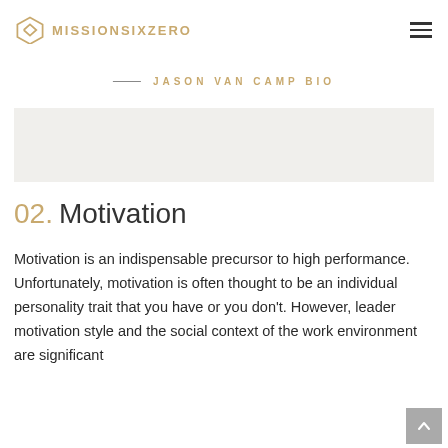MISSIONSIXZERO
JASON VAN CAMP BIO
[Figure (photo): Light gray image placeholder for Jason Van Camp photo]
02. Motivation
Motivation is an indispensable precursor to high performance. Unfortunately, motivation is often thought to be an individual personality trait that you have or you don't. However, leader motivation style and the social context of the work environment are significant